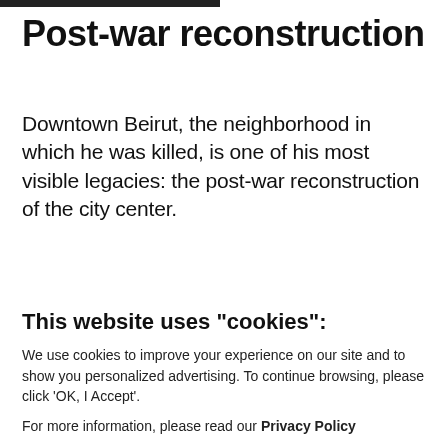Post-war reconstruction
Downtown Beirut, the neighborhood in which he was killed, is one of his most visible legacies: the post-war reconstruction of the city center.
While celebrated by some for bringing
This website uses "cookies":
We use cookies to improve your experience on our site and to show you personalized advertising. To continue browsing, please click 'OK, I Accept'.
For more information, please read our Privacy Policy
Ok, I Accept